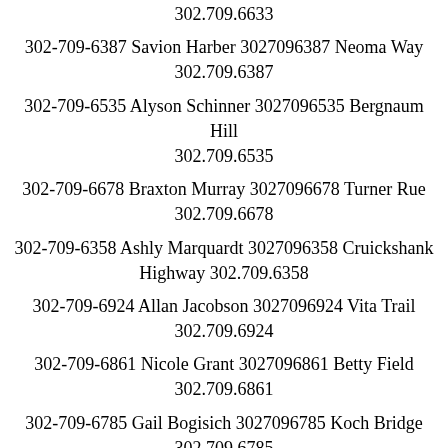302.709.6633
302-709-6387 Savion Harber 3027096387 Neoma Way 302.709.6387
302-709-6535 Alyson Schinner 3027096535 Bergnaum Hill 302.709.6535
302-709-6678 Braxton Murray 3027096678 Turner Rue 302.709.6678
302-709-6358 Ashly Marquardt 3027096358 Cruickshank Highway 302.709.6358
302-709-6924 Allan Jacobson 3027096924 Vita Trail 302.709.6924
302-709-6861 Nicole Grant 3027096861 Betty Field 302.709.6861
302-709-6785 Gail Bogisich 3027096785 Koch Bridge 302.709.6785
302-709-6579 Damien Bode 3027096579 Tremblay Point 302.709.6579
302-709-6814 Nannie Stokes 3027096814 Upton Track